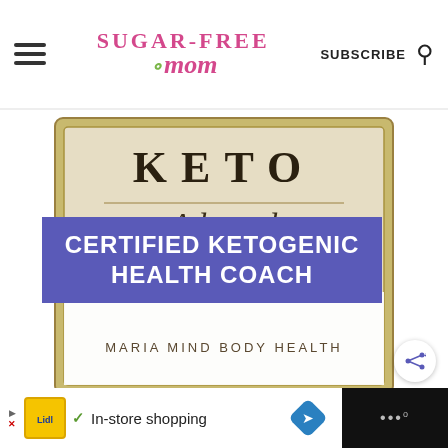Sugar-Free Mom | SUBSCRIBE
[Figure (logo): Certification badge: KETO Adapted logo with purple banner reading CERTIFIED KETOGENIC HEALTH COACH, subtitle MARIA MIND BODY HEALTH]
[Figure (screenshot): Ad bar at bottom: Lidl In-store shopping advertisement with navigation arrow]